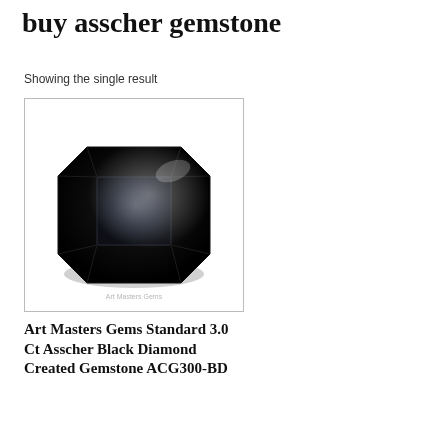buy asscher gemstone
Showing the single result
[Figure (photo): Black asscher cut gemstone product photo with watermark 'Art Masters Gems' at bottom center, shown against white background inside a bordered box]
Art Masters Gems Standard 3.0 Ct Asscher Black Diamond Created Gemstone ACG300-BD